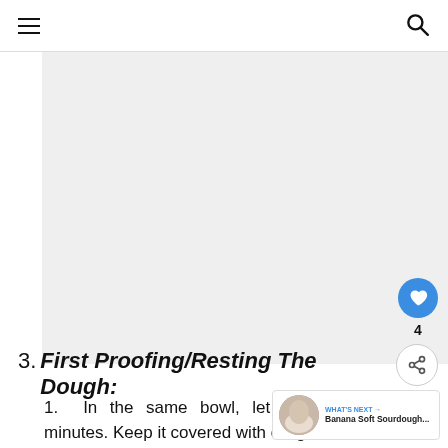≡  [search icon]
[Figure (photo): Large light gray image area (photo of bread/dough, mostly out of frame or blank)]
3. First Proofing/Resting The Dough:
1. In the same bowl, let the dough [rest for...] minutes. Keep it covered with clingfilm or use a